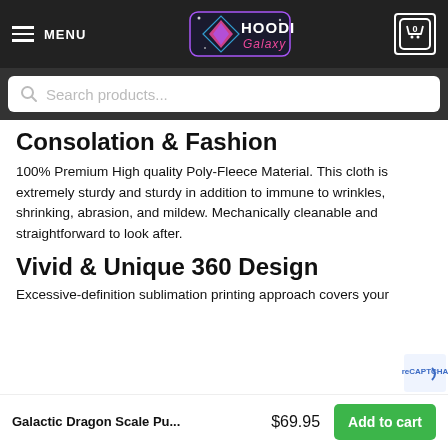MENU | Hoodie Galaxy | Cart 0
Search products...
Consolation & Fashion
100% Premium High quality Poly-Fleece Material. This cloth is extremely sturdy and sturdy in addition to immune to wrinkles, shrinking, abrasion, and mildew. Mechanically cleanable and straightforward to look after.
Vivid & Unique 360 Design
Excessive-definition sublimation printing approach covers your
Galactic Dragon Scale Pu... $69.95 Add to cart